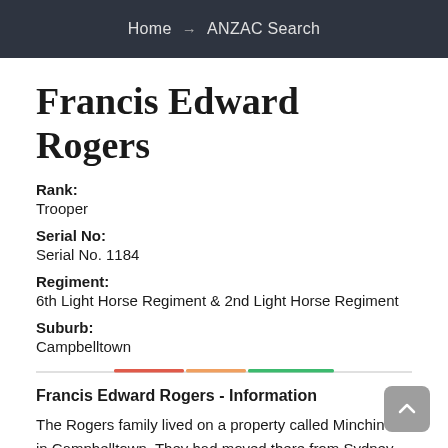Home → ANZAC Search
Francis Edward Rogers
Rank:
Trooper
Serial No:
Serial No. 1184
Regiment:
6th Light Horse Regiment & 2nd Light Horse Regiment
Suburb:
Campbelltown
Francis Edward Rogers - Information
The Rogers family lived on a property called Minchin in Campbelltown. They had moved there from Sydney.